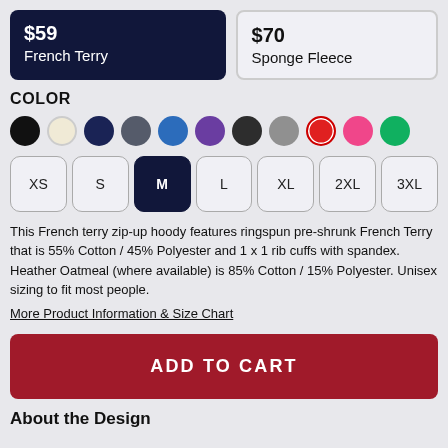$59 French Terry (selected), $70 Sponge Fleece
COLOR
[Figure (infographic): Color swatches: black, cream/oatmeal, navy, dark gray, blue, purple, dark charcoal, gray, red (selected), pink/hot pink, green]
[Figure (infographic): Size selector buttons: XS, S, M (selected/active), L, XL, 2XL, 3XL]
This French terry zip-up hoody features ringspun pre-shrunk French Terry that is 55% Cotton / 45% Polyester and 1 x 1 rib cuffs with spandex. Heather Oatmeal (where available) is 85% Cotton / 15% Polyester. Unisex sizing to fit most people.
More Product Information & Size Chart
ADD TO CART
About the Design